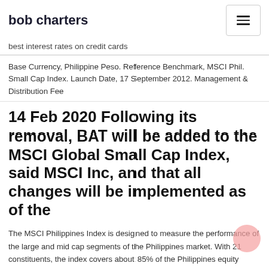bob charters
best interest rates on credit cards
Base Currency, Philippine Peso. Reference Benchmark, MSCI Phil. Small Cap Index. Launch Date, 17 September 2012. Management & Distribution Fee
14 Feb 2020 Following its removal, BAT will be added to the MSCI Global Small Cap Index, said MSCI Inc, and that all changes will be implemented as of the
The MSCI Philippines Index is designed to measure the performance of the large and mid cap segments of the Philippines market. With 21 constituents, the index covers about 85% of the Philippines equity universe . 1 The MSCI